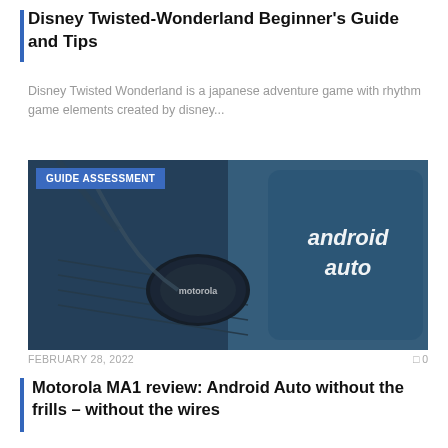Disney Twisted-Wonderland Beginner's Guide and Tips
Disney Twisted Wonderland is a japanese adventure game with rhythm game elements created by disney...
[Figure (photo): Photo of a Motorola MA1 wireless Android Auto adapter device placed in a car console, with an Android Auto screen visible in the background. A blue badge reads 'GUIDE ASSESSMENT'.]
FEBRUARY 28, 2022
0
Motorola MA1 review: Android Auto without the frills – without the wires